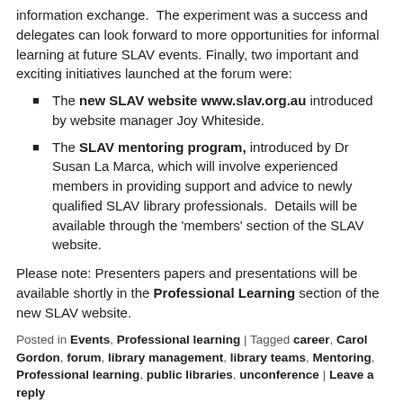information exchange.  The experiment was a success and delegates can look forward to more opportunities for informal learning at future SLAV events. Finally, two important and exciting initiatives launched at the forum were:
The new SLAV website www.slav.org.au introduced by website manager Joy Whiteside.
The SLAV mentoring program, introduced by Dr Susan La Marca, which will involve experienced members in providing support and advice to newly qualified SLAV library professionals.  Details will be available through the 'members' section of the SLAV website.
Please note: Presenters papers and presentations will be available shortly in the Professional Learning section of the new SLAV website.
Posted in Events, Professional learning | Tagged career, Carol Gordon, forum, library management, library teams, Mentoring, Professional learning, public libraries, unconference | Leave a reply